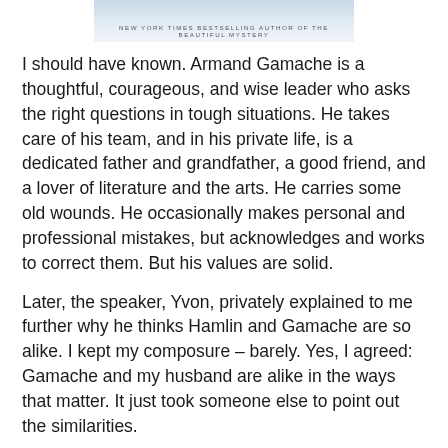[Figure (other): Book cover banner with blurred light background and text reading 'NEW YORK TIMES BESTSELLING AUTHOR OF THE BEAUTIFUL MYSTERY']
I should have known. Armand Gamache is a thoughtful, courageous, and wise leader who asks the right questions in tough situations. He takes care of his team, and in his private life, is a dedicated father and grandfather, a good friend, and a lover of literature and the arts. He carries some old wounds. He occasionally makes personal and professional mistakes, but acknowledges and works to correct them. But his values are solid.
Later, the speaker, Yvon, privately explained to me further why he thinks Hamlin and Gamache are so alike. I kept my composure – barely. Yes, I agreed: Gamache and my husband are alike in the ways that matter. It just took someone else to point out the similarities.